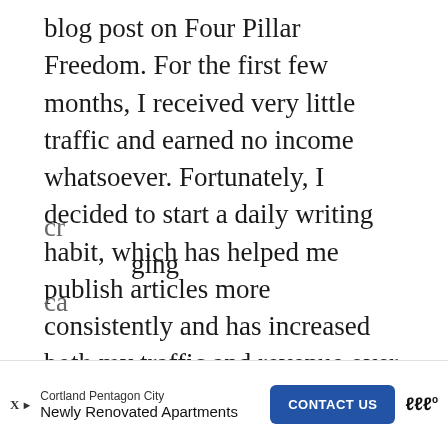blog post on Four Pillar Freedom. For the first few months, I received very little traffic and earned no income whatsoever. Fortunately, I decided to start a daily writing habit, which has helped me publish articles more consistently and has increased both my traffic and revenue over time. Now, over 560 blog posts later, I have a sizable audience and last month alone earned over $1,600 through this blog.
An excellent way to increase your income is to simply build your own business and create...
[Figure (other): Advertisement banner for Cortland Pentagon City - Newly Renovated Apartments with a CONTACT US button and Millennial Money logo]